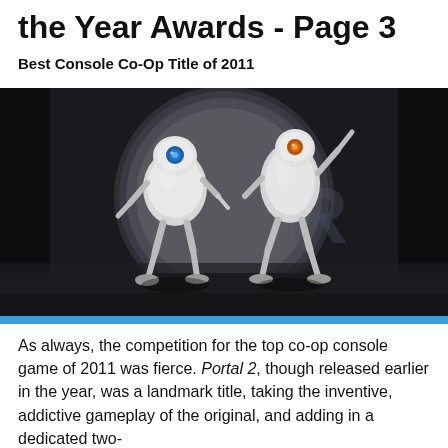the Year Awards - Page 3
Best Console Co-Op Title of 2011
[Figure (photo): Two robotic characters (Atlas and P-Body from Portal 2) standing in front of a large circular vault or portal entrance in a dark industrial setting.]
As always, the competition for the top co-op console game of 2011 was fierce. Portal 2, though released earlier in the year, was a landmark title, taking the inventive, addictive gameplay of the original, and adding in a dedicated two-